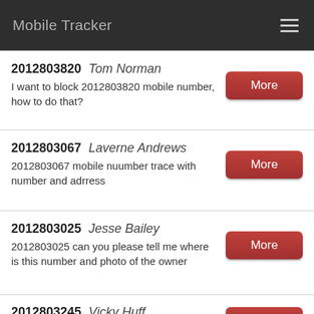Mobile Tracker
2012803820 Tom Norman
I want to block 2012803820 mobile number, how to do that?
2012803067 Laverne Andrews
2012803067 mobile nuumber trace with number and adrress
2012803025 Jesse Bailey
2012803025 can you please tell me where is this number and photo of the owner
2012803245 Vicky Huff
Who's phone number is 2012803245